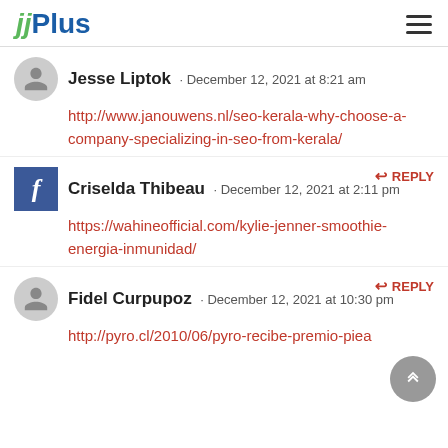jjPlus
Jesse Liptok · December 12, 2021 at 8:21 am
http://www.janouwens.nl/seo-kerala-why-choose-a-company-specializing-in-seo-from-kerala/
↩ REPLY
Criselda Thibeau · December 12, 2021 at 2:11 pm
https://wahineofficial.com/kylie-jenner-smoothie-energia-inmunidad/
↩ REPLY
Fidel Curpupoz · December 12, 2021 at 10:30 pm
http://pyro.cl/2010/06/pyro-recibe-premio-piea